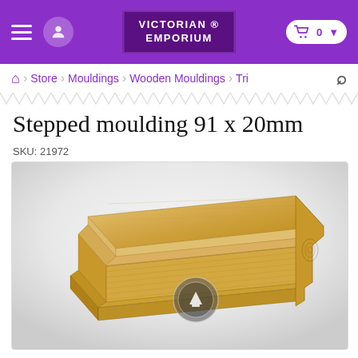Victorian Emporium
Store > Mouldings > Wooden Mouldings > Tri...
Stepped moulding 91 x 20mm
SKU: 21972
[Figure (photo): 3D rendered image of a stepped wooden moulding piece (91 x 20mm) shown in natural pine/light wood color with visible wood grain texture, displayed at an angle showing the stepped profile cross-section. A circular play/zoom button overlay is centered on the image.]